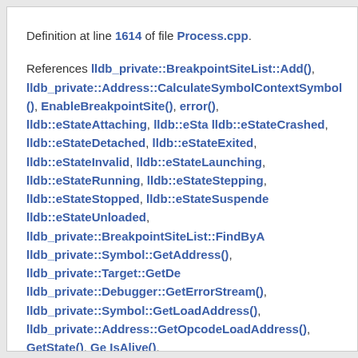Definition at line 1614 of file Process.cpp.
References lldb_private::BreakpointSiteList::Add(), lldb_private::Address::CalculateSymbolContextSymbol(), EnableBreakpointSite(), error(), lldb::eStateAttaching, lldb::eStateCrashed, lldb::eStateDetached, lldb::eStateExited, lldb::eStateInvalid, lldb::eStateLaunching, lldb::eStateRunning, lldb::eStateStepping, lldb::eStateStopped, lldb::eStateSuspended, lldb::eStateUnloaded, lldb_private::BreakpointSiteList::FindByA..., lldb_private::Symbol::GetAddress(), lldb_private::Target::GetDe..., lldb_private::Debugger::GetErrorStream(), lldb_private::Symbol::GetLoadAddress(), lldb_private::Address::GetOpcodeLoadAddress(), GetState(), Ge..., IsAlive(), lldb_private::Symbol::IsIndirect(), LLDB_INVALID_ADD..., LLDB_INVALID_BREAK_ID, m_breakpoint_site_list, lldb_private::Stream::Printf(), and ResolveIndirectFunction().
Referenced by lldb_private::BreakpointLocation::ResolveBreakp...